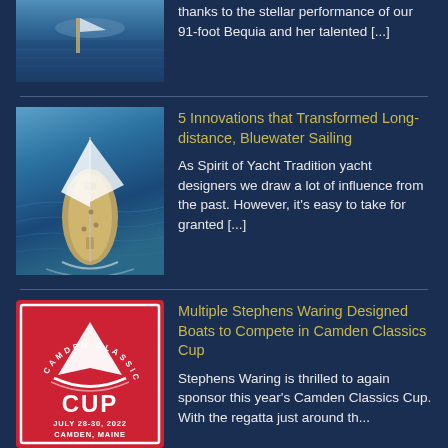[Figure (photo): Aerial or side view of a sailing yacht on blue water, partially visible at top of page]
thanks to the stellar performance of our 91-foot Bequia and her talented [...]
[Figure (photo): Aerial view of a large sailing yacht with white sails on dark blue water]
5 Innovations that Transformed Long-distance, Bluewater Sailing
As Spirit of Yacht Tradition yacht designers we draw a lot of influence from the past.  However, it's easy to take for granted [...]
[Figure (logo): Camden Classics Cup red square logo with sailboat graphic, text CAMDEN CLASSICS CUP JULY 28-30, 2022 CAMDEN, MAINE]
Multiple Stephens Waring Designed Boats to Compete in Camden Classics Cup
Stephens Waring is thrilled to again sponsor this year's Camden Classics Cup.  With the regatta just around th...